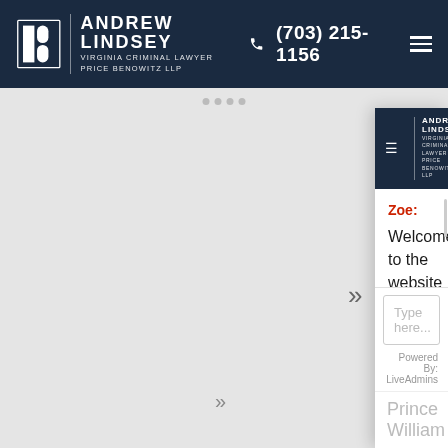Andrew Lindsey Virginia Criminal Lawyer Price Benowitz LLP | (703) 215-1156
[Figure (screenshot): Chat widget overlay showing Andrew Lindsey Virginia Criminal Lawyer Price Benowitz LLP branding with navigation header, chat message from Zoe welcoming users to the website, text input field, and Powered By: LiveAdmins footer]
Zoe:
Welcome to the website of Andrew Lindsey, Virginia Criminal Lawyer of Price Benowitz LLP. How may I help you?
Type here...
Powered By: LiveAdmins
Prince William